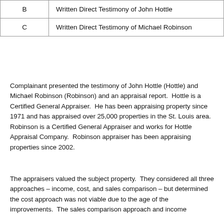|  |  |
| --- | --- |
| B | Written Direct Testimony of John Hottle |
| C | Written Direct Testimony of Michael Robinson |
Complainant presented the testimony of John Hottle (Hottle) and Michael Robinson (Robinson) and an appraisal report.  Hottle is a Certified General Appraiser.  He has been appraising property since 1971 and has appraised over 25,000 properties in the St. Louis area. Robinson is a Certified General Appraiser and works for Hottle Appraisal Company.  Robinson appraiser has been appraising properties since 2002.
The appraisers valued the subject property.  They considered all three approaches – income, cost, and sales comparison – but determined the cost approach was not viable due to the age of the improvements.  The sales comparison approach and income